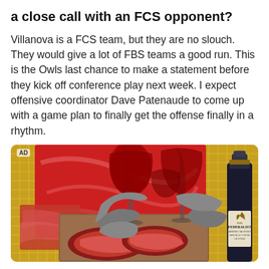a close call with an FCS opponent?
Villanova is a FCS team, but they are no slouch. They would give a lot of FBS teams a good run. This is the Owls last chance to make a statement before they kick off conference play next week. I expect offensive coordinator Dave Patenaude to come up with a game plan to finally get the offense finally in a rhythm.
[Figure (photo): Advertisement image showing two hands clinking wine glasses with red wine, steaks on a cutting board, and a bottle of The Federalist wine against a red and yellow patterned background. AD label in top left corner.]